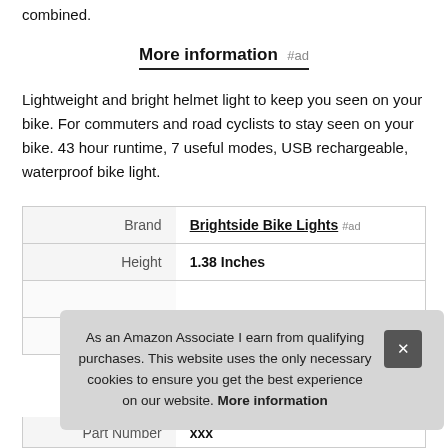combined.
More information #ad
Lightweight and bright helmet light to keep you seen on your bike. For commuters and road cyclists to stay seen on your bike. 43 hour runtime, 7 useful modes, USB rechargeable, waterproof bike light.
|  |  |
| --- | --- |
| Brand | Brightside Bike Lights #ad |
| Height | 1.38 Inches |
| Part Number | xxx |
As an Amazon Associate I earn from qualifying purchases. This website uses the only necessary cookies to ensure you get the best experience on our website. More information